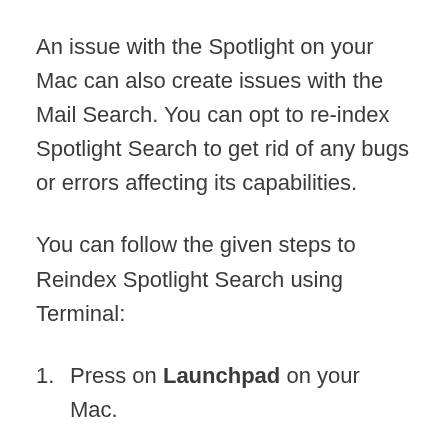An issue with the Spotlight on your Mac can also create issues with the Mail Search. You can opt to re-index Spotlight Search to get rid of any bugs or errors affecting its capabilities.
You can follow the given steps to Reindex Spotlight Search using Terminal:
Press on Launchpad on your Mac.
Search for Terminal on your Launchpad's search bar. Launch the program